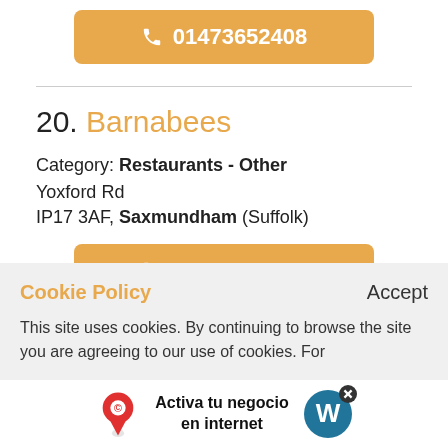[Figure (other): Phone call button with number 01473652408 in orange rounded rectangle]
20. Barnabees
Category: Restaurants - Other
Yoxford Rd
IP17 3AF, Saxmundham (Suffolk)
[Figure (other): Phone call button with number 01728648848 in orange rounded rectangle]
Cookie Policy   Accept
This site uses cookies. By continuing to browse the site you are agreeing to our use of cookies. For
[Figure (other): Ad banner: Activa tu negocio en internet with location icon and WordPress logo]